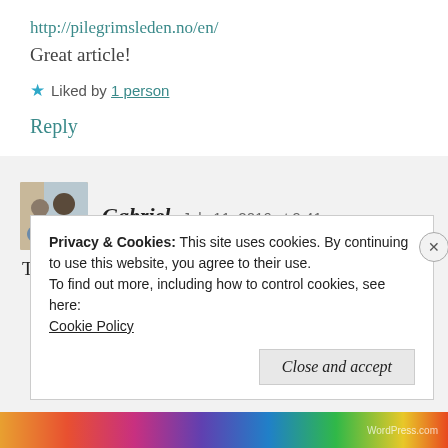http://pilegrimsleden.no/en/
Great article!
★ Liked by 1 person
Reply
Gabriel   July 11, 2016 at 9:41 am
Thank you for the tip Clearskiescamino!
Privacy & Cookies: This site uses cookies. By continuing to use this website, you agree to their use.
To find out more, including how to control cookies, see here:
Cookie Policy
Close and accept